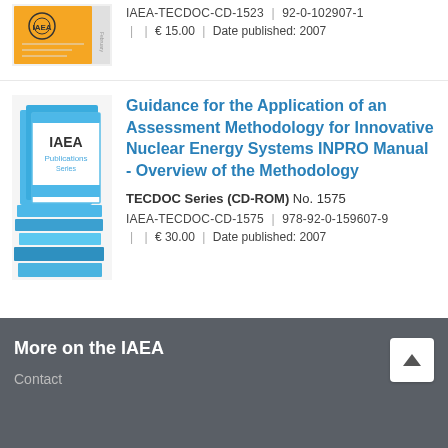[Figure (illustration): IAEA orange book cover thumbnail (partial)]
IAEA-TECDOC-CD-1523 | 92-0-102907-1
€ 15.00 | Date published: 2007
[Figure (illustration): IAEA Publications Series blue book stack cover image]
Guidance for the Application of an Assessment Methodology for Innovative Nuclear Energy Systems INPRO Manual - Overview of the Methodology
TECDOC Series (CD-ROM) No. 1575
IAEA-TECDOC-CD-1575 | 978-92-0-159607-9
€ 30.00 | Date published: 2007
More on the IAEA
Contact